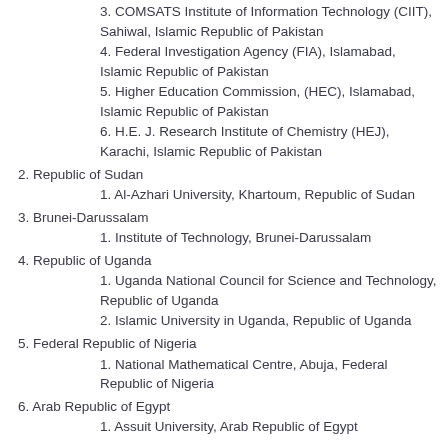3. COMSATS Institute of Information Technology (CIIT), Sahiwal, Islamic Republic of Pakistan
4. Federal Investigation Agency (FIA), Islamabad, Islamic Republic of Pakistan
5. Higher Education Commission, (HEC), Islamabad, Islamic Republic of Pakistan
6. H.E. J. Research Institute of Chemistry (HEJ), Karachi, Islamic Republic of Pakistan
2. Republic of Sudan
1. Al-Azhari University, Khartoum, Republic of Sudan
3. Brunei-Darussalam
1. Institute of Technology, Brunei-Darussalam
4. Republic of Uganda
1. Uganda National Council for Science and Technology, Republic of Uganda
2. Islamic University in Uganda, Republic of Uganda
5. Federal Republic of Nigeria
1. National Mathematical Centre, Abuja, Federal Republic of Nigeria
6. Arab Republic of Egypt
1. Assuit University, Arab Republic of Egypt